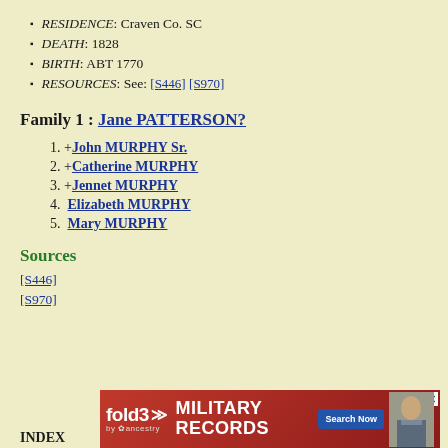RESIDENCE: Craven Co. SC
DEATH: 1828
BIRTH: ABT 1770
RESOURCES: See: [S446] [S970]
Family 1 : Jane PATTERSON?
1. +John MURPHY Sr.
2. +Catherine MURPHY
3. +Jennet MURPHY
4.  Elizabeth MURPHY
5.  Mary MURPHY
Sources
[S446]
[S970]
INDEX
[Figure (other): Fold3 military records advertisement banner with red background, Fold3 logo with ancestry branding, 'MILITARY RECORDS' text, 'Search Now' button, and a vintage military photo]